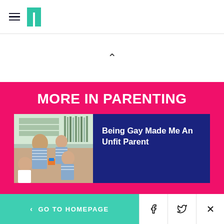HuffPost navigation header with hamburger menu and logo
MORE IN PARENTING
[Figure (photo): Family photo showing a woman with three children in striped clothing, indoors]
Being Gay Made Me An Unfit Parent
GO TO HOMEPAGE